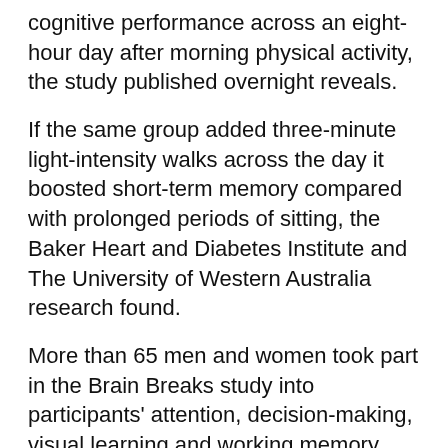cognitive performance across an eight-hour day after morning physical activity, the study published overnight reveals.
If the same group added three-minute light-intensity walks across the day it boosted short-term memory compared with prolonged periods of sitting, the Baker Heart and Diabetes Institute and The University of Western Australia research found.
More than 65 men and women took part in the Brain Breaks study into participants' attention, decision-making, visual learning and working memory coupled with exercise.
The exercise involved them walking on a treadmill.
A protein central to the growth of information-transmitting neurons in the brain was elevated for eight hours by the exercise, in comparison to prolonged sitting, the study found.